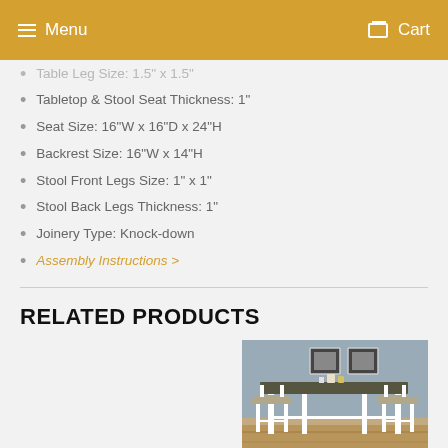Menu   Cart
Table Leg Size: 1.5" x 1.5"
Tabletop & Stool Seat Thickness: 1"
Seat Size: 16"W x 16"D x 24"H
Backrest Size: 16"W x 14"H
Stool Front Legs Size: 1" x 1"
Stool Back Legs Thickness: 1"
Joinery Type: Knock-down
Assembly Instructions >
RELATED PRODUCTS
[Figure (photo): A white counter-height dining table set with two bar stools, shown against a gray wall with framed pictures. The table has a dark top and white base.]